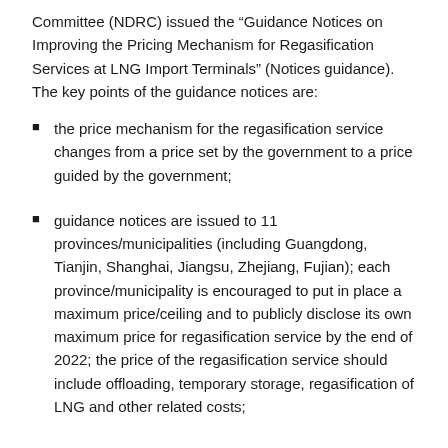Committee (NDRC) issued the “Guidance Notices on Improving the Pricing Mechanism for Regasification Services at LNG Import Terminals” (Notices guidance). The key points of the guidance notices are:
the price mechanism for the regasification service changes from a price set by the government to a price guided by the government;
guidance notices are issued to 11 provinces/municipalities (including Guangdong, Tianjin, Shanghai, Jiangsu, Zhejiang, Fujian); each province/municipality is encouraged to put in place a maximum price/ceiling and to publicly disclose its own maximum price for regasification service by the end of 2022; the price of the regasification service should include offloading, temporary storage, regasification of LNG and other related costs;